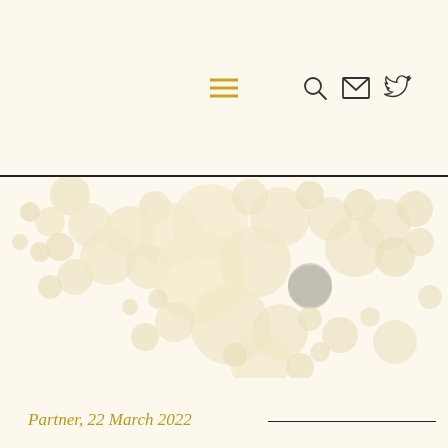Navigation header with menu, search, email, and Twitter icons
[Figure (illustration): Abstract bubble/circle pattern forming a loose triangular or Africa-continent-like shape, composed of many overlapping semi-transparent cream/beige circles of varying sizes, with one gray circle near the center-right.]
Partner, 22 March 2022